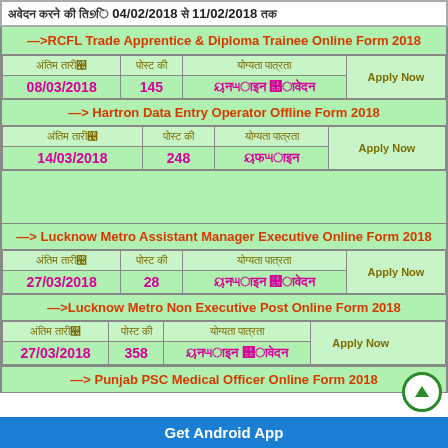आवेदन करने की तिथि 04/02/2018 से 11/02/2018 तक
—>RCFL Trade Apprentice & Diploma Trainee Online Form 2018
| अंतिम तारीख | पोस्ट की | योग्यता पात्रता | Apply Now |
| --- | --- | --- | --- |
| 08/03/2018 | 145 | ऑनलाइन आवेदन |  |
—> Hartron Data Entry Operator Offline Form 2018
| अंतिम तारीख | पोस्ट की | योग्यता पात्रता | Apply Now |
| --- | --- | --- | --- |
| 14/03/2018 | 248 | ऑफलाइन |  |
—> Lucknow Metro Assistant Manager Executive Online Form 2018
| अंतिम तारीख | पोस्ट की | योग्यता पात्रता | Apply Now |
| --- | --- | --- | --- |
| 27/03/2018 | 28 | ऑनलाइन आवेदन |  |
—>Lucknow Metro Non Executive Post Online Form 2018
| अंतिम तारीख | पोस्ट की | योग्यता पात्रता | Apply Now |
| --- | --- | --- | --- |
| 27/03/2018 | 358 | ऑनलाइन आवेदन |  |
—> Punjab PSC Medical Officer Online Form 2018
Get Android App